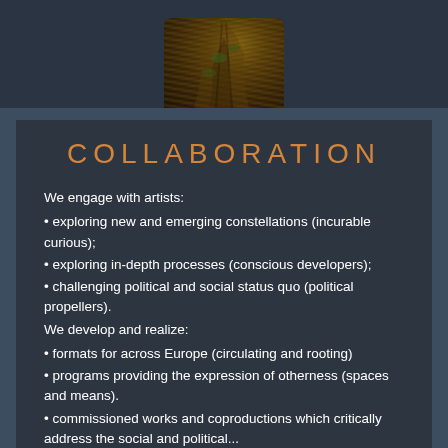[Figure (photo): Tree trunk with bark texture and moss, cropped at top of page against dark background]
COLLABORATION
We engage with artists:
• exploring new and emerging constellations (incurable curious);
• exploring in-depth processes (conscious developers);
• challenging political and social status quo (political propellers).
We develop and realize:
• formats for across Europe (circulating and rooting)
• programs providing the expression of otherness (spaces and means).
• commissioned works and coproductions which critically address the social and political...